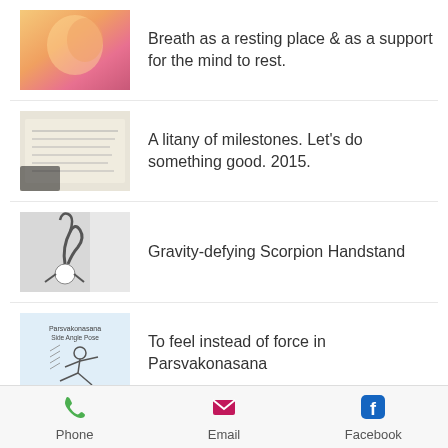[Figure (photo): Blurry warm-toned photo of a person, pink and golden hues]
Breath as a resting place & as a support for the mind to rest.
[Figure (photo): Handwritten notes on paper, black and white with a hand visible]
A litany of milestones. Let's do something good. 2015.
[Figure (photo): Black and white photo of a person performing a scorpion handstand yoga pose]
Gravity-defying Scorpion Handstand
[Figure (illustration): Parsvakonasana Side Angle Pose yoga diagram illustration]
To feel instead of force in Parsvakonasana
Phone   Email   Facebook